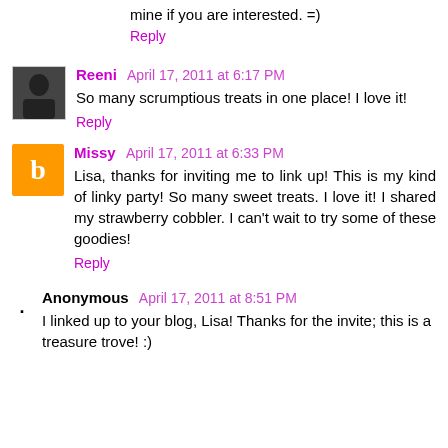mine if you are interested. =)
Reply
Reeni April 17, 2011 at 6:17 PM
So many scrumptious treats in one place! I love it!
Reply
Missy April 17, 2011 at 6:33 PM
Lisa, thanks for inviting me to link up! This is my kind of linky party! So many sweet treats. I love it! I shared my strawberry cobbler. I can't wait to try some of these goodies!
Reply
Anonymous April 17, 2011 at 8:51 PM
I linked up to your blog, Lisa! Thanks for the invite; this is a treasure trove! :)